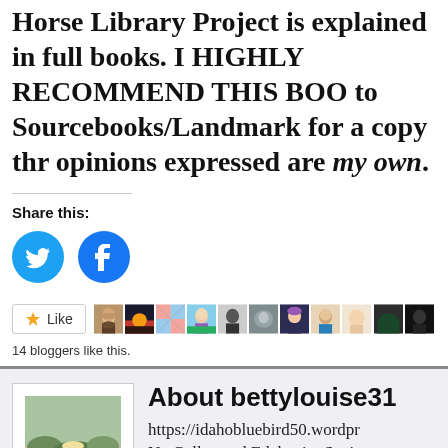Horse Library Project is explained in full books. I HIGHLY RECOMMEND THIS BOO to Sourcebooks/Landmark for a copy thr opinions expressed are my own.
Share this:
[Figure (other): Twitter and Facebook share icon buttons (blue circles with bird and f icons)]
[Figure (other): Like button and row of 11 blogger avatar profile photos]
14 bloggers like this.
About bettylouise31
[Figure (photo): Profile photo of person sitting outdoors reading in a blue shirt, sandy/brush landscape background]
https://idahobluebird50.wordpr NetGalley and Edelweiss Senior reading and sharing my thought life. I read for my pleasure. I hav 65 years. We had a Bengal Cat